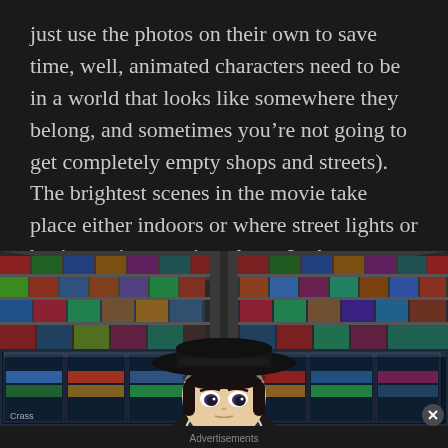just use the photos on their own to save time, well, animated characters need to be in a world that looks like somewhere they belong, and sometimes you're not going to get completely empty shops and streets).  The brightest scenes in the movie take place either indoors or where street lights or business signs are in galore.  In the process there is balance and change in scenery.
[Figure (illustration): Anime still frame showing a dark-haired animated girl wearing a large black hat, standing in a brightly lit convenience store aisle with colorful product shelves on both sides.]
Advertisements